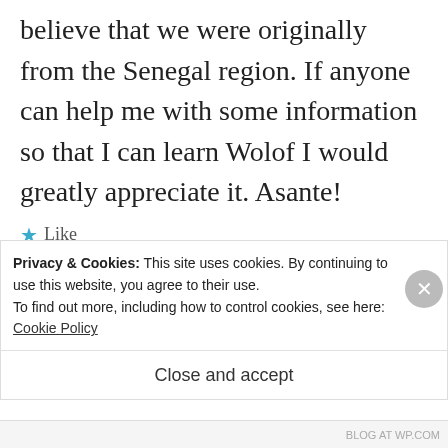believe that we were originally from the Senegal region. If anyone can help me with some information so that I can learn Wolof I would greatly appreciate it. Asante!
★ Like
Log in to Reply
[Figure (illustration): Purple geometric/diamond pattern avatar icon for user 'tam']
tam
SATURDAY, DECEMBER 5, 2009 AT
Privacy & Cookies: This site uses cookies. By continuing to use this website, you agree to their use.
To find out more, including how to control cookies, see here: Cookie Policy
Close and accept